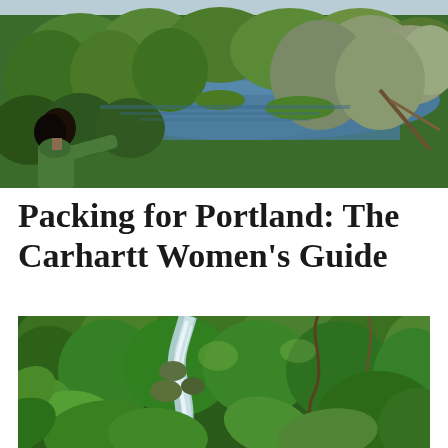[Figure (photo): Aerial view of a woman in a green jacket looking out over a lush green landscape with a winding blue river/lake surrounded by trees]
Packing for Portland: The Carhartt Women’s Guide
[Figure (photo): A lush green forest scene with a small waterfall or stream flowing through dense green vegetation and large leaves]